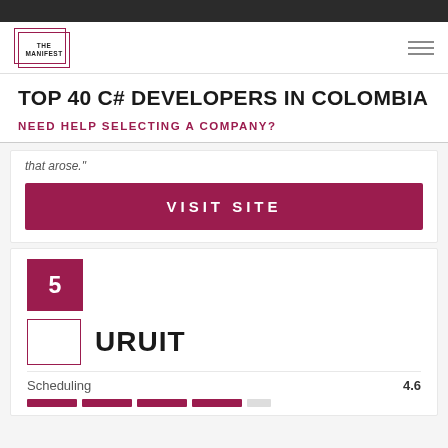THE MANIFEST
TOP 40 C# DEVELOPERS IN COLOMBIA
NEED HELP SELECTING A COMPANY?
that arose."
VISIT SITE
5
[Figure (logo): URUIT company logo placeholder box]
URUIT
Scheduling
4.6